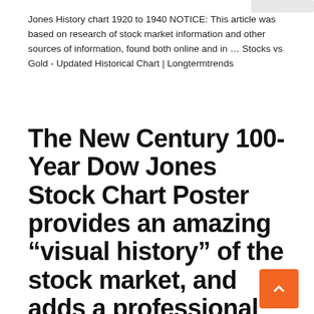Jones History chart 1920 to 1940 NOTICE: This article was based on research of stock market information and other sources of information, found both online and in … Stocks vs Gold - Updated Historical Chart | Longtermtrends
The New Century 100-Year Dow Jones Stock Chart Poster provides an amazing “visual history” of the stock market, and adds a professional look to for the Office • Boardroom • Lobby • Classroom • Home Office. SRC’s Stock